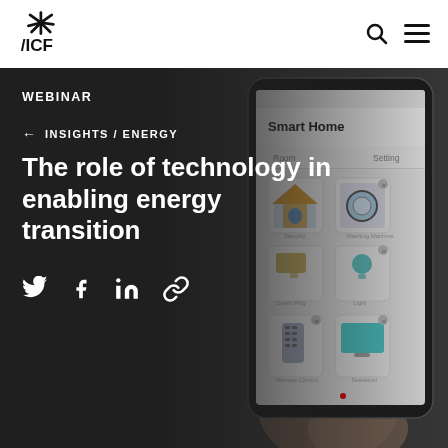ICF logo, search icon, menu icon
WEBINAR
← INSIGHTS / ENERGY
The role of technology in enabling energy transition
[Figure (screenshot): Smartphone displaying a Smart Home app interface with icons for home security, washing machine, smart bulb, remote control, and TV. The phone is held against a dark background. Social sharing icons (Twitter, Facebook, LinkedIn, link) appear in the lower left over the dark overlay.]